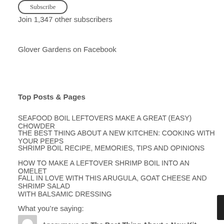[Figure (other): Subscribe button (rounded rectangle outline)]
Join 1,347 other subscribers
Glover Gardens on Facebook
Top Posts & Pages
SEAFOOD BOIL LEFTOVERS MAKE A GREAT (EASY) CHOWDER
THE BEST THING ABOUT A NEW KITCHEN: COOKING WITH YOUR PEEPS
SHRIMP BOIL RECIPE, MEMORIES, TIPS AND OPINIONS
HOW TO MAKE A LEFTOVER SHRIMP BOIL INTO AN OMELET
FALL IN LOVE WITH THIS ARUGULA, GOAT CHEESE AND SHRIMP SALAD WITH BALSAMIC DRESSING
What you're saying:
Anonymous on The Best Thing About a New Kit…